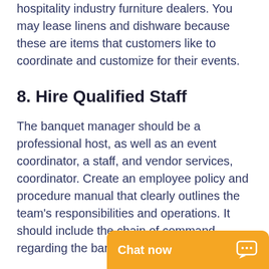hospitality industry furniture dealers. You may lease linens and dishware because these are items that customers like to coordinate and customize for their events.
8. Hire Qualified Staff
The banquet manager should be a professional host, as well as an event coordinator, a staff, and vendor services, coordinator. Create an employee policy and procedure manual that clearly outlines the team's responsibilities and operations. It should include the chain of command regarding the banquet operations.
Open a Bu... and 30 Ac...
[Figure (other): Chat now button overlay — yellow/orange rounded rectangle with 'Chat now' text and chat bubble icon]